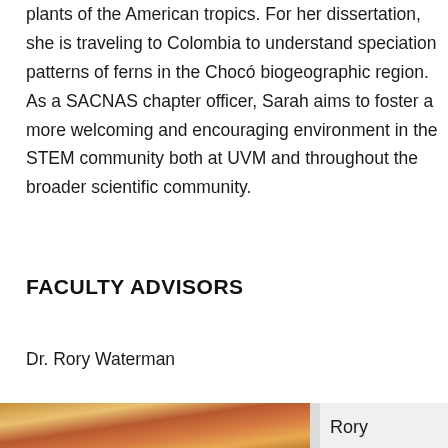plants of the American tropics. For her dissertation, she is traveling to Colombia to understand speciation patterns of ferns in the Chocó biogeographic region. As a SACNAS chapter officer, Sarah aims to foster a more welcoming and encouraging environment in the STEM community both at UVM and throughout the broader scientific community.
FACULTY ADVISORS
Dr. Rory Waterman
[Figure (photo): Partial view of decorative/floral image strip at bottom of page with text 'Rory' visible]